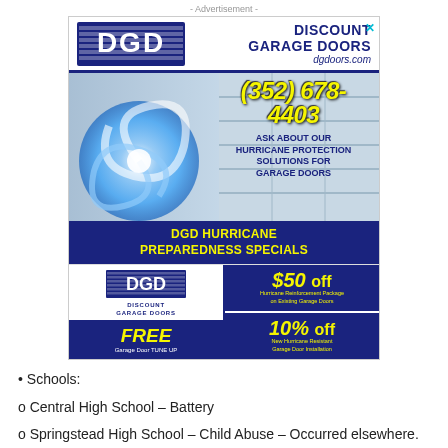- Advertisement -
[Figure (illustration): DGD Discount Garage Doors advertisement featuring phone number (352) 678-4403, hurricane protection solutions messaging, DGD Hurricane Preparedness Specials banner, $50 off and 10% off promotional offers, and FREE Garage Door Tune Up offer.]
• Schools:
o Central High School – Battery
o Springstead High School – Child Abuse – Occurred elsewhere.
o Winding Waters K-8 – Possession of Nicotine Device.